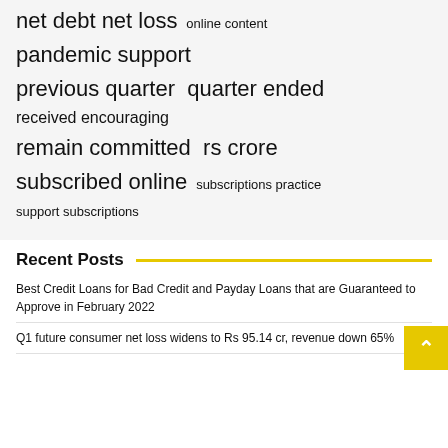[Figure (infographic): Tag cloud with terms of varying font sizes: 'net debt net loss' (large), 'online content' (small), 'pandemic support' (large), 'previous quarter quarter ended' (large), 'received encouraging' (medium), 'remain committed rs crore' (large), 'subscribed online' (large), 'subscriptions practice' (small), 'support subscriptions' (small)]
Recent Posts
Best Credit Loans for Bad Credit and Payday Loans that are Guaranteed to Approve in February 2022
Q1 future consumer net loss widens to Rs 95.14 cr, revenue down 65%